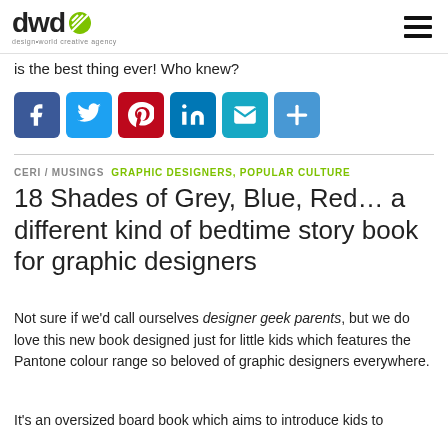dwd design*world creative agency
is the best thing ever! Who knew?
[Figure (infographic): Row of social sharing buttons: Facebook (blue), Twitter (light blue), Pinterest (red), LinkedIn (teal), Email (teal), More/plus (blue)]
CERI / MUSINGS  GRAPHIC DESIGNERS, POPULAR CULTURE
18 Shades of Grey, Blue, Red… a different kind of bedtime story book for graphic designers
Not sure if we'd call ourselves designer geek parents, but we do love this new book designed just for little kids which features the Pantone colour range so beloved of graphic designers everywhere.
It's an oversized board book which aims to introduce kids to